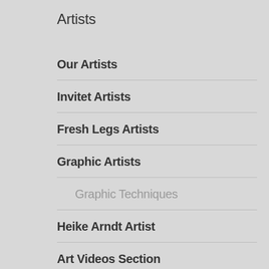Artists
Our Artists
Invitet Artists
Fresh Legs Artists
Graphic Artists
Graphic Techniques
Heike Arndt Artist
Art Videos Section
Search for content on our site